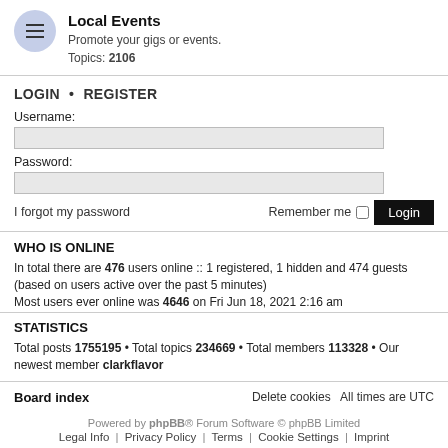Local Events
Promote your gigs or events. Topics: 2106
LOGIN • REGISTER
Username:
Password:
I forgot my password   Remember me   Login
WHO IS ONLINE
In total there are 476 users online :: 1 registered, 1 hidden and 474 guests (based on users active over the past 5 minutes)
Most users ever online was 4646 on Fri Jun 18, 2021 2:16 am
STATISTICS
Total posts 1755195 • Total topics 234669 • Total members 113328 • Our newest member clarkflavor
Board index   Delete cookies   All times are UTC
Powered by phpBB® Forum Software © phpBB Limited
Legal Info | Privacy Policy | Terms | Cookie Settings | Imprint